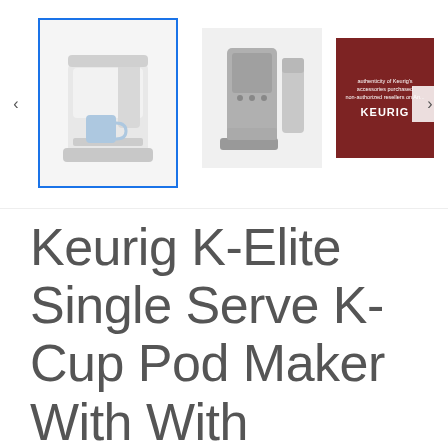[Figure (screenshot): Product image gallery showing three thumbnails of the Keurig K-Elite coffee maker. Left thumbnail is selected (blue border) showing white coffee maker with blue mug. Middle thumbnail shows stainless steel model. Right thumbnail shows dark red Keurig branded box. Navigation arrows visible on left and right sides.]
Keurig K-Elite Single Serve K-Cup Pod Maker With With Strength And Temperature Control,